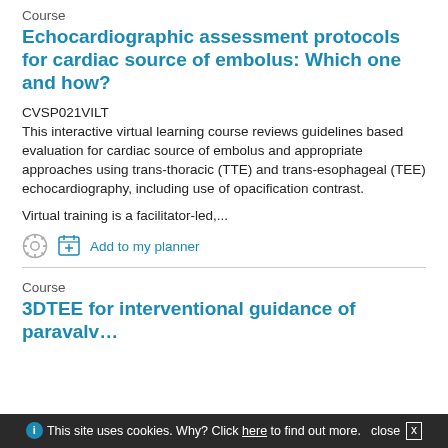Course
Echocardiographic assessment protocols for cardiac source of embolus: Which one and how?
CVSP021VILT
This interactive virtual learning course reviews guidelines based evaluation for cardiac source of embolus and appropriate approaches using trans-thoracic (TTE) and trans-esophageal (TEE) echocardiography, including use of opacification contrast.
Virtual training is a facilitator-led,...
[Figure (other): Gear icon and Add to my planner icon with link]
Course
3DTEE for interventional guidance of paravalv...
This site uses cookies. Why? Click here to find out more.